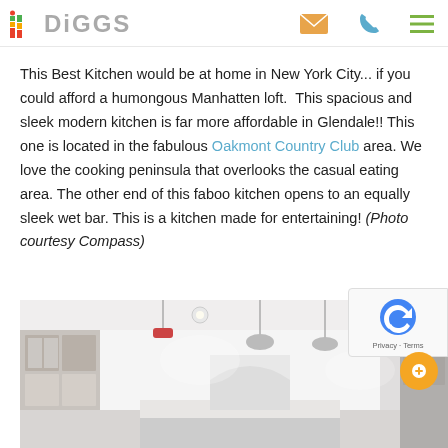DIGGS logo with navigation icons (email, phone, menu)
This Best Kitchen would be at home in New York City... if you could afford a humongous Manhatten loft. This spacious and sleek modern kitchen is far more affordable in Glendale!! This one is located in the fabulous Oakmont Country Club area. We love the cooking peninsula that overlooks the casual eating area. The other end of this faboo kitchen opens to an equally sleek wet bar. This is a kitchen made for entertaining! (Photo courtesy Compass)
[Figure (photo): Interior photo of a modern open kitchen with pendant lights, white cabinets, and an island]